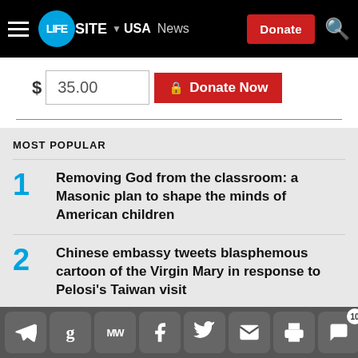LifeSite | USA | News | Donate
$ 35.00  🔒 Donate Now
MOST POPULAR
1 Removing God from the classroom: a Masonic plan to shape the minds of American children
2 Chinese embassy tweets blasphemous cartoon of the Virgin Mary in response to Pelosi's Taiwan visit
3 Walmart announces it will cover the cost of an
Social share toolbar with icons: Telegram, Google, MeWe, Facebook, Twitter, Email, Print, Comments (10), Donate